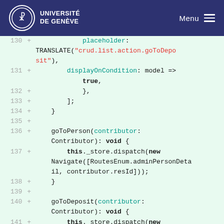UNIVERSITÉ DE GENÈVE  Menu
[Figure (screenshot): Code diff view showing lines 130-141 of a TypeScript file with added lines (green background). Lines show code for placeholder TRANSLATE, displayOnCondition, goToPerson and goToDeposit methods.]